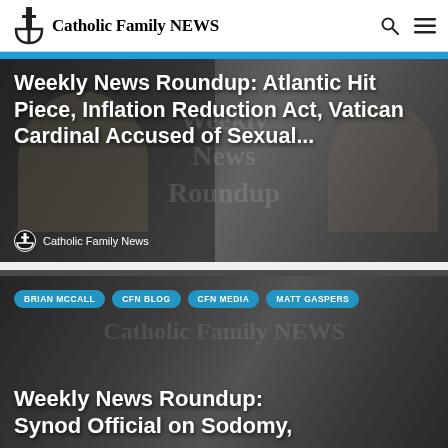Catholic Family NEWS
[Figure (photo): Hero image with two men at a podium, overlaid with large bold white text headline about Weekly News Roundup, and Catholic Family News byline with logo at bottom]
Weekly News Roundup: Atlantic Hit Piece, Inflation Reduction Act, Vatican Cardinal Accused of Sexual...
Catholic Family News
[Figure (photo): Second article card with tags BRIAN MCCALL, CFN BLOG, CFN MEDIA, MATT GASPERS and headline about Weekly News Roundup: Synod Official on Sodomy,]
Weekly News Roundup: Synod Official on Sodomy,